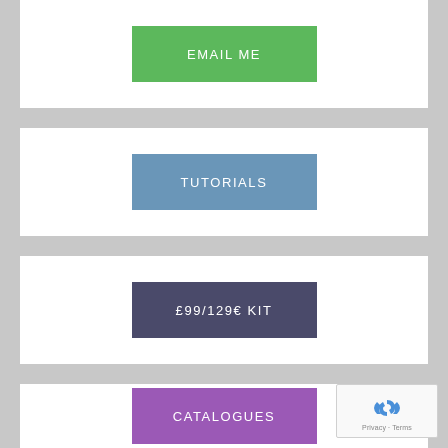[Figure (screenshot): Green button labeled EMAIL ME on white card background]
[Figure (screenshot): Blue button labeled TUTORIALS on white card background]
[Figure (screenshot): Dark blue-grey button labeled £99/129€ KIT on white card background]
[Figure (screenshot): Purple button labeled CATALOGUES on white card background, with reCAPTCHA badge overlaid in bottom right corner showing Privacy and Terms text]